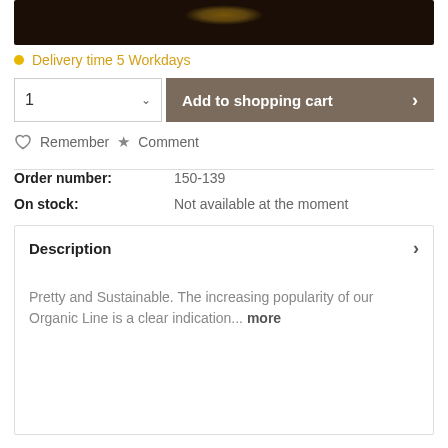[Figure (photo): Dark product photo with amber/gold highlights against black background]
Delivery time 5 Workdays
1  Add to shopping cart >
Remember ★ Comment
| Field | Value |
| --- | --- |
| Order number: | 150-139 |
| On stock: | Not available at the moment |
Description
Pretty and Sustainable. The increasing popularity of our Organic Line is a clear indication... more